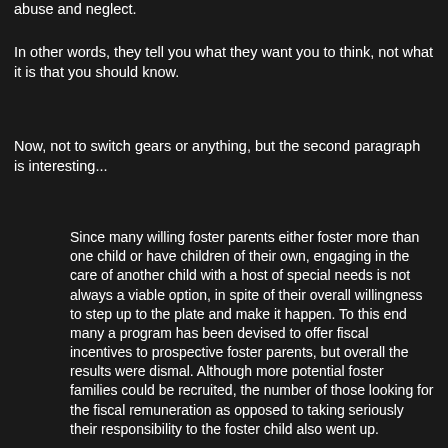abuse and neglect.
In other words, they tell you what they want you to think, not what it is that you should know.
Now, not to switch gears or anything, but the second paragraph is interesting...
Since many willing foster parents either foster more than one child or have children of their own, engaging in the care of another child with a host of special needs is not always a viable option, in spite of their overall willingness to step up to the plate and make it happen. To this end many a program has been devised to offer fiscal incentives to prospective foster parents, but overall the results were dismal. Although more potential foster families could be recruited, the number of those looking for the fiscal remuneration as opposed to taking seriously their responsibility to the foster child also went up.